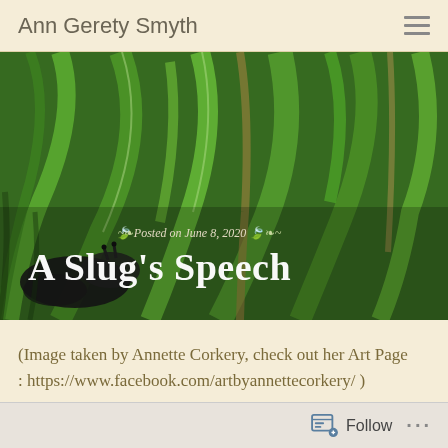Ann Gerety Smyth
[Figure (photo): Close-up photo of green grass/plant leaves with a dark slug visible at the bottom left. Overlay text reads 'Posted on June 8, 2020' and 'A Slug’s Speech'.]
A Slug’s Speech
Posted on June 8, 2020
(Image taken by Annette Corkery, check out her Art Page : https://www.facebook.com/artbyannettecorkery/ )
Follow ...